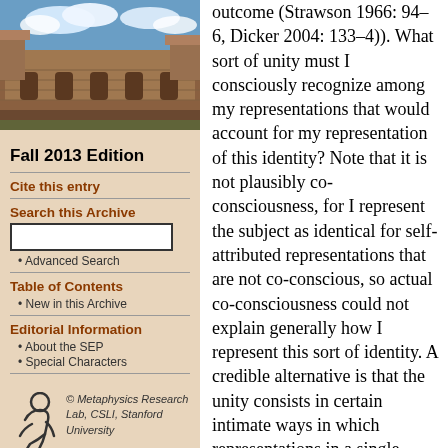[Figure (photo): Aerial/exterior photo of a university building with Gothic architecture and blue sky with clouds]
Fall 2013 Edition
Cite this entry
Search this Archive
Advanced Search
Table of Contents
New in this Archive
Editorial Information
About the SEP
Special Characters
[Figure (logo): Metaphysics Research Lab logo - stylized figure]
© Metaphysics Research Lab, CSLI, Stanford University
outcome (Strawson 1966: 94–6, Dicker 2004: 133–4)). What sort of unity must I consciously recognize among my representations that would account for my representation of this identity? Note that it is not plausibly co-consciousness, for I represent the subject as identical for self-attributed representations that are not co-conscious, so actual co-consciousness could not explain generally how I represent this sort of identity. A credible alternative is that the unity consists in certain intimate ways in which representations in a single subject are typically related. Arguably, the essential feature of this unity is that a